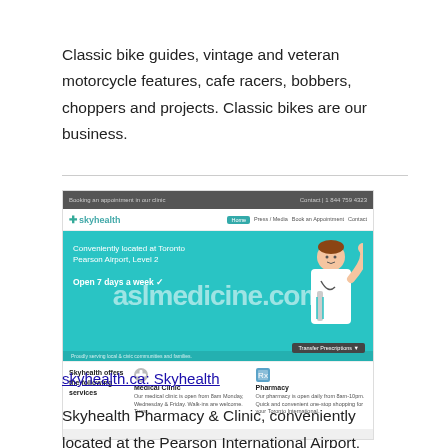Classic bike guides, vintage and veteran motorcycle features, cafe racers, bobbers, choppers and projects. Classic bikes are our business.
[Figure (screenshot): Screenshot of the skyhealth.ca website showing the Skyhealth medical clinic homepage. The page features a teal hero banner with text 'Conveniently located at Toronto Pearson Airport Level 2 Open 7 days a week' and an illustrated doctor. Below is a services section showing Medical Clinic and Pharmacy offerings. A watermark overlay reads 'aslmedicine.com'.]
skyhealth.ca: Skyhealth
Skyhealth Pharmacy & Clinic, conveniently located at the Pearson International Airport, Toronto.